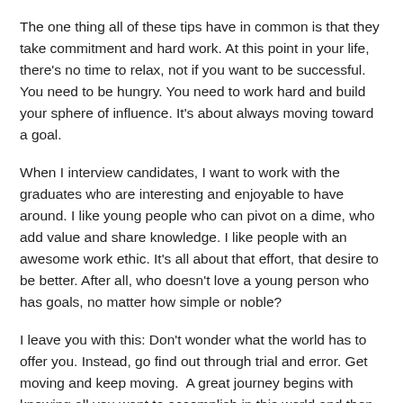The one thing all of these tips have in common is that they take commitment and hard work. At this point in your life, there's no time to relax, not if you want to be successful. You need to be hungry. You need to work hard and build your sphere of influence. It's about always moving toward a goal.
When I interview candidates, I want to work with the graduates who are interesting and enjoyable to have around. I like young people who can pivot on a dime, who add value and share knowledge. I like people with an awesome work ethic. It's all about that effort, that desire to be better. After all, who doesn't love a young person who has goals, no matter how simple or noble?
I leave you with this: Don't wonder what the world has to offer you. Instead, go find out through trial and error. Get moving and keep moving.  A great journey begins with knowing all you want to accomplish in this world and then taking steps to make it happen. It's that simple.